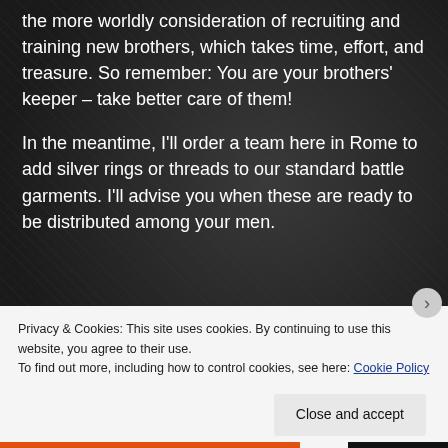the more worldly consideration of recruiting and training new brothers, which takes time, effort, and treasure. So remember: You are your brothers' keeper – take better care of them!
In the meantime, I'll order a team here in Rome to add silver rings or threads to our standard battle garments. I'll advise you when these are ready to be distributed among your men.
Cardinal Soriano
Privacy & Cookies: This site uses cookies. By continuing to use this website, you agree to their use.
To find out more, including how to control cookies, see here: Cookie Policy
Close and accept